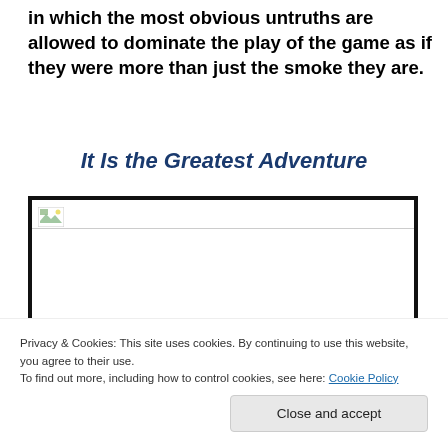in which the most obvious untruths are allowed to dominate the play of the game as if they were more than just the smoke they are.
It Is the Greatest Adventure
[Figure (photo): Image box with a broken/placeholder image icon at top-left, a horizontal divider below the icon, and white space filling the rest of the box. Thick black border around the box.]
Privacy & Cookies: This site uses cookies. By continuing to use this website, you agree to their use.
To find out more, including how to control cookies, see here: Cookie Policy
Close and accept